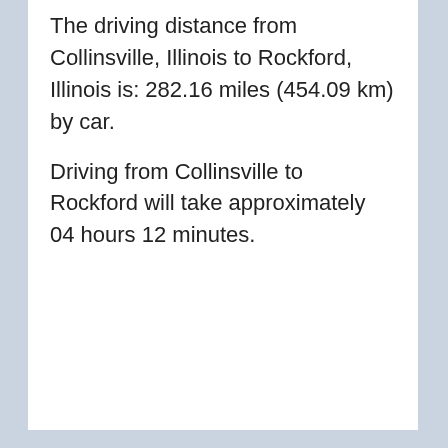The driving distance from Collinsville, Illinois to Rockford, Illinois is: 282.16 miles (454.09 km) by car.
Driving from Collinsville to Rockford will take approximately 04 hours 12 minutes.